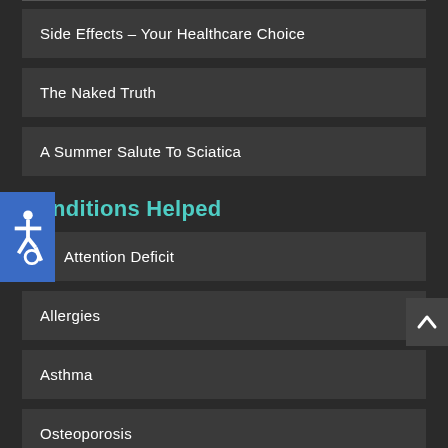Side Effects – Your Healthcare Choice
The Naked Truth
A Summer Salute To Sciatica
Conditions Helped
Attention Deficit
Allergies
Asthma
Osteoporosis